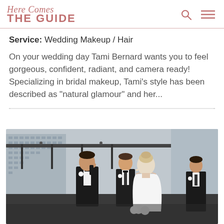Here Comes THE GUIDE
Service: Wedding Makeup / Hair
On your wedding day Tami Bernard wants you to feel gorgeous, confident, radiant, and camera ready! Specializing in bridal makeup, Tami's style has been described as "natural glamour" and her...
[Figure (photo): Wedding ceremony photo showing a groom wiping a tear at the altar, with groomsmen in black tuxedos standing behind him, and a blonde bride with an updo seen from behind holding white flowers, with a city skyline visible through glass railings in the background.]